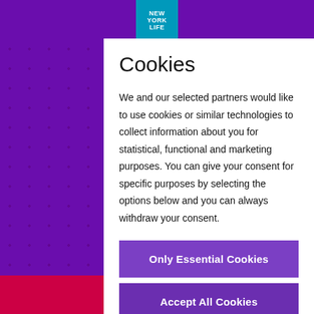[Figure (logo): New York Life logo in teal/blue box at top center]
Cookies
We and our selected partners would like to use cookies or similar technologies to collect information about you for statistical, functional and marketing purposes. You can give your consent for specific purposes by selecting the options below and you can always withdraw your consent.
Only Essential Cookies
Accept All Cookies
Cookie Preferences